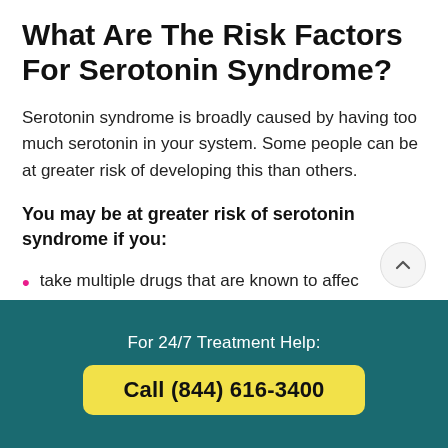What Are The Risk Factors For Serotonin Syndrome?
Serotonin syndrome is broadly caused by having too much serotonin in your system. Some people can be at greater risk of developing this than others.
You may be at greater risk of serotonin syndrome if you:
take multiple drugs that are known to affect serotonin levels (e.g. antidepressants and
For 24/7 Treatment Help:
Call (844) 616-3400